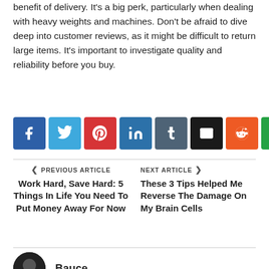benefit of delivery. It's a big perk, particularly when dealing with heavy weights and machines. Don't be afraid to dive deep into customer reviews, as it might be difficult to return large items. It's important to investigate quality and reliability before you buy.
[Figure (infographic): Row of 8 social media share buttons: Facebook (blue), Twitter (light blue), Pinterest (red), LinkedIn (dark blue), Tumblr (slate), Email (black), Reddit (orange), WhatsApp (green)]
PREVIOUS ARTICLE
Work Hard, Save Hard: 5 Things In Life You Need To Put Money Away For Now
NEXT ARTICLE
These 3 Tips Helped Me Reverse The Damage On My Brain Cells
Bauce